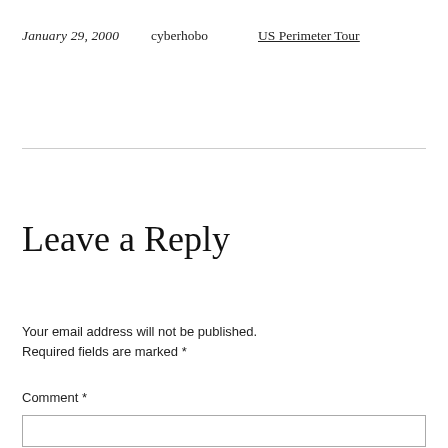January 29, 2000    cyberhobo    US Perimeter Tour
Leave a Reply
Your email address will not be published. Required fields are marked *
Comment *